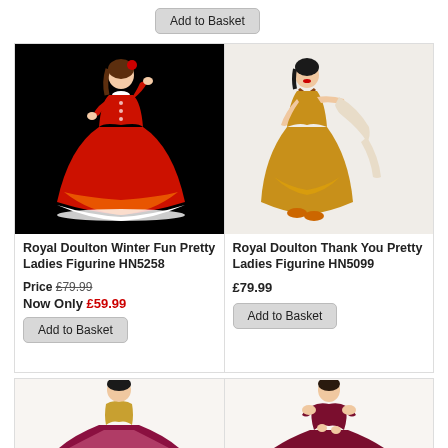[Figure (other): Add to Basket button at top of page]
[Figure (photo): Royal Doulton Winter Fun Pretty Ladies Figurine HN5258 - woman in red dress with white fur trim on black background]
Royal Doulton Winter Fun Pretty Ladies Figurine HN5258
Price £79.99
Now Only £59.99
Add to Basket
[Figure (photo): Royal Doulton Thank You Pretty Ladies Figurine HN5099 - woman in gold/yellow dress on white background]
Royal Doulton Thank You Pretty Ladies Figurine HN5099
£79.99
Add to Basket
[Figure (photo): Royal Doulton figurine - woman in pink/burgundy dress, partially visible at bottom]
[Figure (photo): Royal Doulton figurine - woman in dark red/burgundy dress, partially visible at bottom]